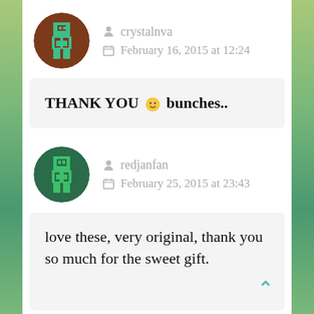[Figure (illustration): Pixel art avatar in brown circle for user crystalnva]
crystalnva
February 16, 2015 at 12:24
THANK YOU 🙂 bunches..
[Figure (illustration): Pixel art avatar in dark green circle for user redjanfan]
redjanfan
February 25, 2015 at 23:43
love these, very original, thank you so much for the sweet gift.